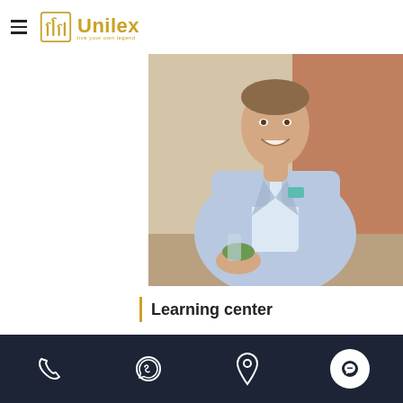Unilex
[Figure (photo): Man in light blue blazer smiling, seated in a restaurant/cafe setting, holding a glass, with blurred warm interior background]
Learning center
Learning never stops
Phone | WhatsApp | Location | Chat icons